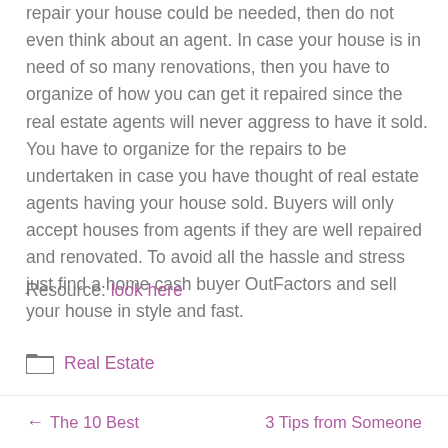repair your house could be needed, then do not even think about an agent. In case your house is in need of so many renovations, then you have to organize of how you can get it repaired since the real estate agents will never aggress to have it sold. You have to organize for the repairs to be undertaken in case you have thought of real estate agents having your house sold. Buyers will only accept houses from agents if they are well repaired and renovated. To avoid all the hassle and stress just find a home cash buyer OutFactors and sell your house in style and fast.
Resource: look here
Real Estate
← The 10 Best    3 Tips from Someone